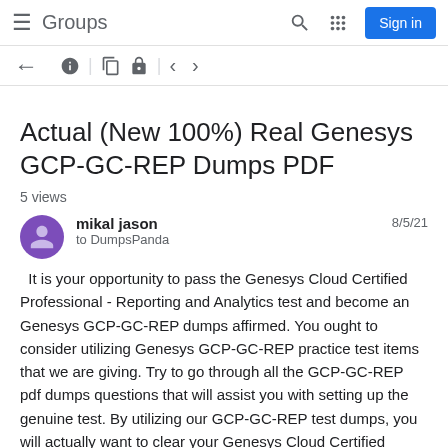Groups | Sign in
Actual (New 100%) Real Genesys GCP-GC-REP Dumps PDF
5 views
mikal jason  to DumpsPanda  8/5/21
It is your opportunity to pass the Genesys Cloud Certified Professional - Reporting and Analytics test and become an Genesys GCP-GC-REP dumps affirmed. You ought to consider utilizing Genesys GCP-GC-REP practice test items that we are giving. Try to go through all the GCP-GC-REP pdf dumps questions that will assist you with setting up the genuine test. By utilizing our GCP-GC-REP test dumps, you will actually want to clear your Genesys Cloud Certified Professional - Reporting and Analytics test on the principal endeavor. Without going through any issue, you can turn into an Genesys Certified Professional ensured proficiency. The entirety of our GCP-GC-REP pdf dumps are made by our specialists that will assist you with accomplishing the